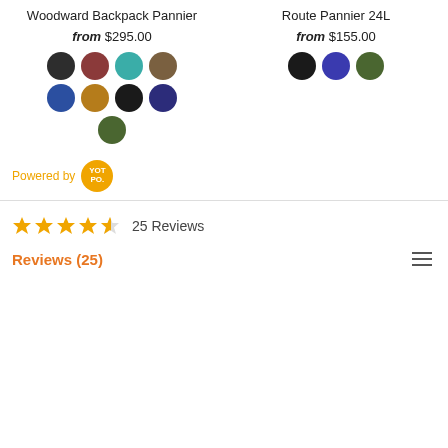Woodward Backpack Pannier
from $295.00
[Figure (other): Color swatches for Woodward Backpack Pannier: black, dark red/brown, teal, olive/brown, blue, mustard, black, navy, olive green]
Route Pannier 24L
from $155.00
[Figure (other): Color swatches for Route Pannier 24L: black, blue/indigo, olive green]
Powered by YOTPO
25 Reviews
Reviews (25)